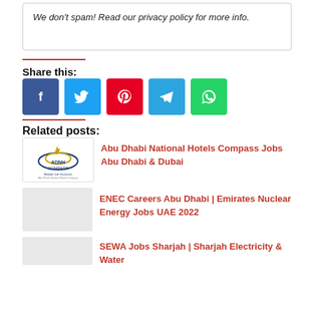We don't spam! Read our privacy policy for more info.
Share this:
[Figure (other): Social share buttons: Facebook, Twitter, Pinterest, Telegram, WhatsApp]
Related posts:
[Figure (logo): ADNH Compass Multiple Job Vacancies logo]
Abu Dhabi National Hotels Compass Jobs Abu Dhabi & Dubai
ENEC Careers Abu Dhabi | Emirates Nuclear Energy Jobs UAE 2022
SEWA Jobs Sharjah | Sharjah Electricity & Water